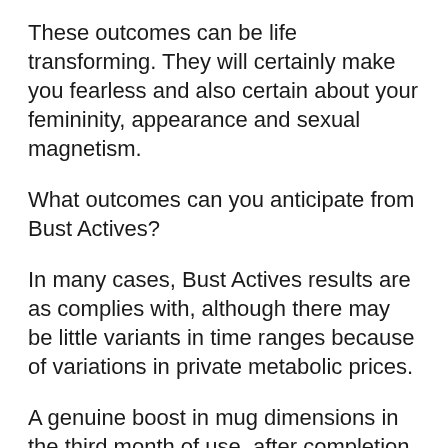These outcomes can be life transforming. They will certainly make you fearless and also certain about your femininity, appearance and sexual magnetism.
What outcomes can you anticipate from Bust Actives?
In many cases, Bust Actives results are as complies with, although there may be little variants in time ranges because of variations in private metabolic prices.
A genuine boost in mug dimensions in the third month of use, after completion of 60 days
In 5 to 6 months, you can reach your full growth potential from 1 to 2 cup dimensions